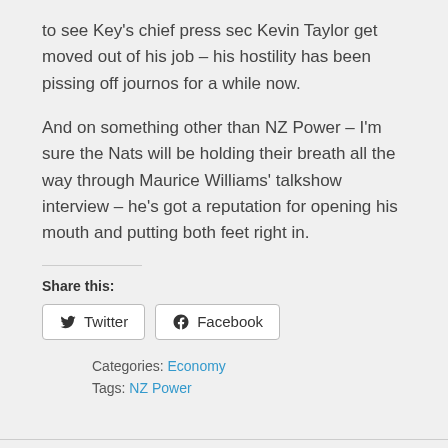to see Key's chief press sec Kevin Taylor get moved out of his job – his hostility has been pissing off journos for a while now.
And on something other than NZ Power – I'm sure the Nats will be holding their breath all the way through Maurice Williams' talkshow interview – he's got a reputation for opening his mouth and putting both feet right in.
Share this:
[Figure (other): Social share buttons for Twitter and Facebook]
Categories: Economy
Tags: NZ Power